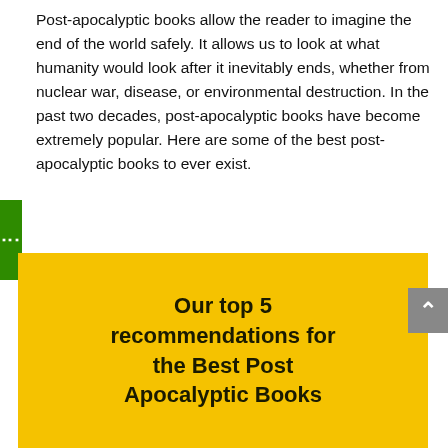Post-apocalyptic books allow the reader to imagine the end of the world safely. It allows us to look at what humanity would look after it inevitably ends, whether from nuclear war, disease, or environmental destruction. In the past two decades, post-apocalyptic books have become extremely popular. Here are some of the best post-apocalyptic books to ever exist.
Our top 5 recommendations for the Best Post Apocalyptic Books